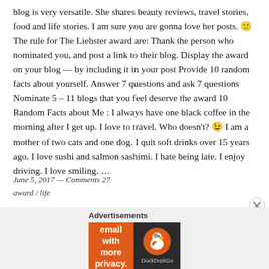blog is very versatile. She shares beauty reviews, travel stories, food and life stories. I am sure you are gonna love her posts. 🙂 The rule for The Liebster award are: Thank the person who nominated you, and post a link to their blog. Display the award on your blog — by including it in your post Provide 10 random facts about yourself. Answer 7 questions and ask 7 questions Nominate 5 – 11 blogs that you feel deserve the award 10 Random Facts about Me : I always have one black coffee in the morning after I get up. I love to travel. Who doesn't? 😉 I am a mother of two cats and one dog. I quit soft drinks over 15 years ago. I love sushi and salmon sashimi. I hate being late. I enjoy driving. I love smiling. …
June 5, 2017 — Comments 27
award / life
Advertisements
[Figure (other): DuckDuckGo advertisement banner: orange background with text 'Search, browse, and email with more privacy. All in One Free App' and DuckDuckGo logo on dark right panel.]